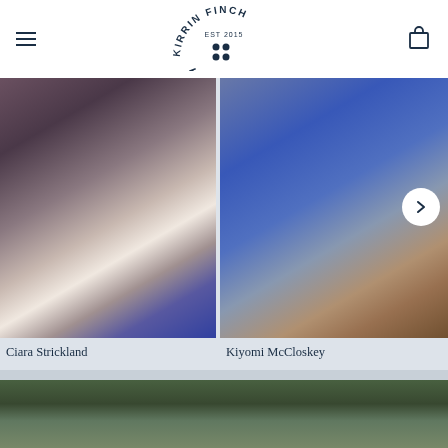[Figure (logo): Kirrin Finch logo: circular text reading KIRRIN FINCH with EST 2015 in the center and four dots arranged in a 2x2 grid]
[Figure (photo): Person wearing a purple plaid blazer over a white blouse with jeans, dark hair, standing outdoors]
Ciara Strickland
[Figure (photo): Person in a blue three-piece suit sitting on brown stone steps, wearing tan loafers]
Kiyomi McCloskey
[Figure (photo): Person with short dark hair, partial view from top of head, outdoors with green foliage background]